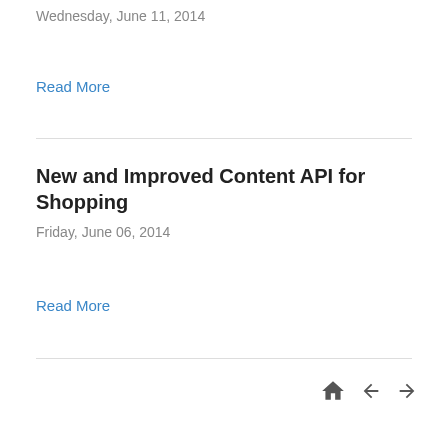Wednesday, June 11, 2014
Read More
New and Improved Content API for Shopping
Friday, June 06, 2014
Read More
[Figure (other): Navigation icons: home, back arrow, forward arrow]